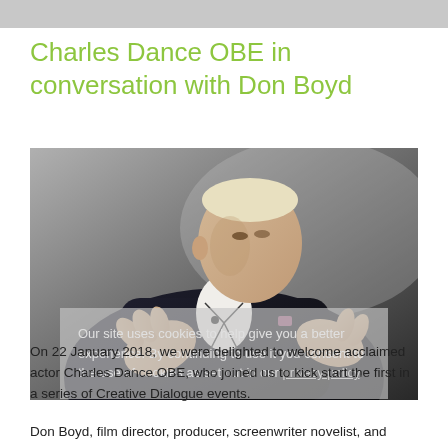[Figure (photo): Photograph of Charles Dance OBE, an older man in a dark blazer with white shirt, gesturing with both hands while speaking, against a grey background]
Charles Dance OBE in conversation with Don Boyd
Our site uses cookies to help give you a better experience. By continuing to use it you consent to the use of cookies as set out in our privacy policy.
On 22 January 2018, we were delighted to welcome acclaimed actor Charles Dance OBE, who joined us to kick start the first in a series of Creative Dialogue events.
Don Boyd, film director, producer, screenwriter novelist, and